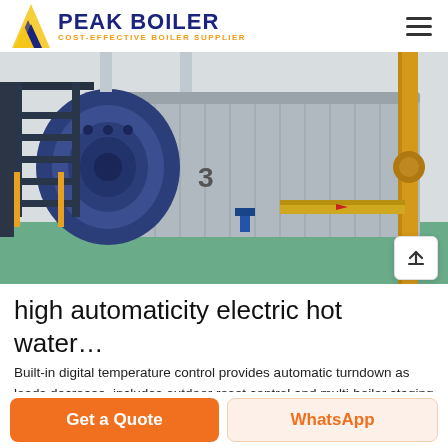PEAK BOILER — COST-EFFECTIVE BOILER SUPPLIER
[Figure (photo): Industrial gas/oil fired hot water boiler in a factory setting. Large blue cylindrical boiler body with dark navy metal staircase on left, yellow vertical pipe on right, various fittings and connections visible. Green floor, white wall background.]
high automaticity electric hot water...
Built-in digital temperature control provides automatic turndown as loads decrease, includes outdoor reset control and multi-boiler staging capability. Specs and Docs 2D/3D CAD Files Find a Deal...
Get a Quote
WhatsApp